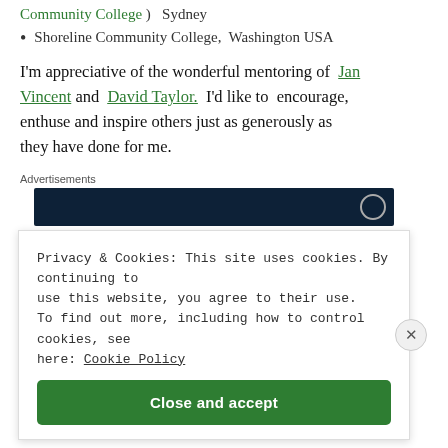Community College )  Sydney
Shoreline Community College,  Washington USA
I'm appreciative of the wonderful mentoring of Jan Vincent and David Taylor.  I'd like to encourage, enthuse and inspire others just as generously as they have done for me.
Advertisements
Privacy & Cookies: This site uses cookies. By continuing to use this website, you agree to their use.
To find out more, including how to control cookies, see here: Cookie Policy
Close and accept